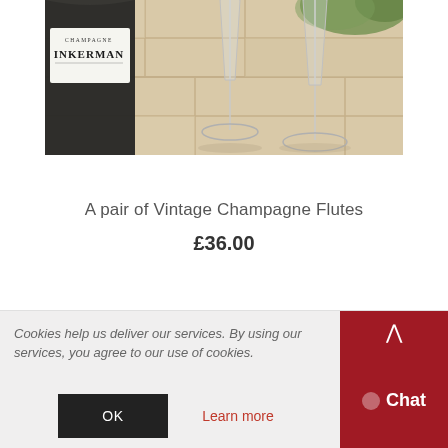[Figure (photo): A dark champagne bottle labeled INKERMAN with two tall clear champagne flute glasses on a light wooden surface, with greenery visible in the background.]
A pair of Vintage Champagne Flutes
£36.00
Cookies help us deliver our services. By using our services, you agree to our use of cookies.